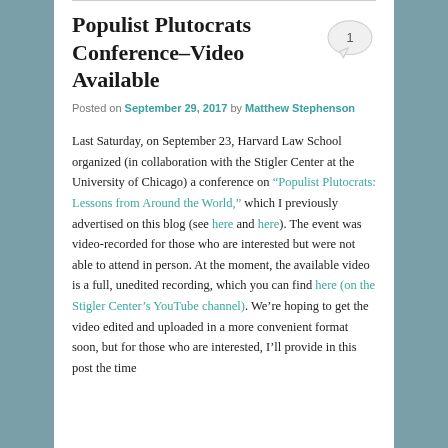Populist Plutocrats Conference–Video Available
Posted on September 29, 2017 by Matthew Stephenson
Last Saturday, on September 23, Harvard Law School organized (in collaboration with the Stigler Center at the University of Chicago) a conference on "Populist Plutocrats: Lessons from Around the World," which I previously advertised on this blog (see here and here). The event was video-recorded for those who are interested but were not able to attend in person. At the moment, the available video is a full, unedited recording, which you can find here (on the Stigler Center's YouTube channel). We're hoping to get the video edited and uploaded in a more convenient format soon, but for those who are interested, I'll provide in this post the time